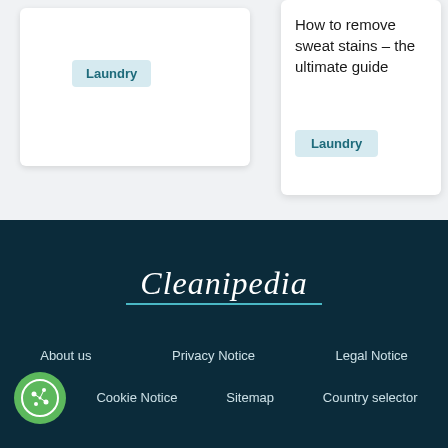Laundry
How to remove sweat stains – the ultimate guide
Laundry
[Figure (logo): Cleanipedia script logo in white italic text on dark teal background with underline]
About us   Privacy Notice   Legal Notice   Cookie Notice   Sitemap   Country selector